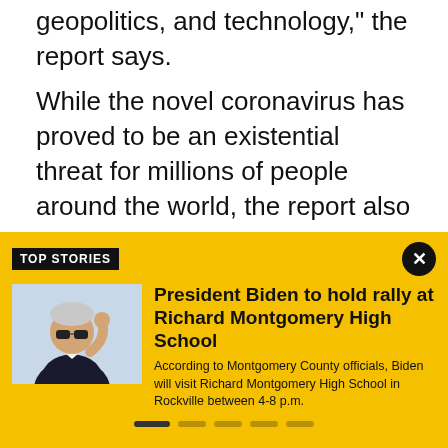geopolitics, and technology," the report says.
While the novel coronavirus has proved to be an existential threat for millions of people around the world, the report also details various other issues that create concern for nearly all aspects of life.
[Figure (screenshot): Dark background image banner with text 'Researchers surveyed ‘parental' and Fox TV Stations logo in top right]
TOP STORIES
[Figure (photo): Photo of President Biden waving, wearing sunglasses and dark suit]
President Biden to hold rally at Richard Montgomery High School
According to Montgomery County officials, Biden will visit Richard Montgomery High School in Rockville between 4-8 p.m.